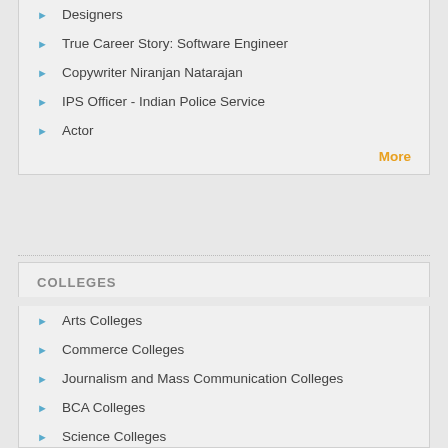Designers
True Career Story: Software Engineer
Copywriter Niranjan Natarajan
IPS Officer - Indian Police Service
Actor
More
COLLEGES
Arts Colleges
Commerce Colleges
Journalism and Mass Communication Colleges
BCA Colleges
Science Colleges
BBA Colleges